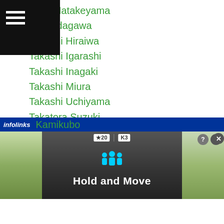anori Hatakeyama
ashi Edagawa
Takashi Hiraiwa
Takashi Igarashi
Takashi Inagaki
Takashi Miura
Takashi Uchiyama
Takatora Suzuki
Takayuki Hosokawa
Takayuki-hosokawa
Takayuki Okumoto
Takayuki Sakai
Takehiro-shimokawara
Takehiro Shinohara
Takenori Ohashi
Kamikubo
[Figure (screenshot): Ad banner for 'Hold and Move' app showing a navigation/GPS interface with road imagery and people icon, with infolinks bar overlay]